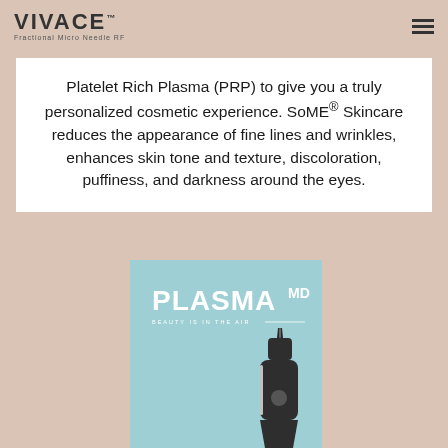VIVACE™ Fractional Micro Needle RF
Platelet Rich Plasma (PRP) to give you a truly personalized cosmetic experience. SoME® Skincare reduces the appearance of fine lines and wrinkles, enhances skin tone and texture, discoloration, puffiness, and darkness around the eyes.
[Figure (photo): PlasmaMD device — a dark pen-shaped plasma beauty device on a light blue background with 'PLASMA MD — BEAUTY IS IN THE AIR' text logo]